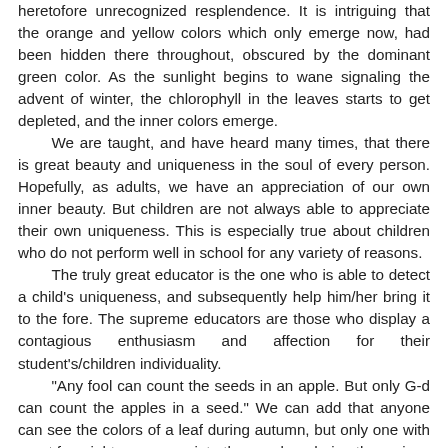heretofore unrecognized resplendence. It is intriguing that the orange and yellow colors which only emerge now, had been hidden there throughout, obscured by the dominant green color. As the sunlight begins to wane signaling the advent of winter, the chlorophyll in the leaves starts to get depleted, and the inner colors emerge.

We are taught, and have heard many times, that there is great beauty and uniqueness in the soul of every person. Hopefully, as adults, we have an appreciation of our own inner beauty. But children are not always able to appreciate their own uniqueness. This is especially true about children who do not perform well in school for any variety of reasons.

The truly great educator is the one who is able to detect a child's uniqueness, and subsequently help him/her bring it to the fore. The supreme educators are those who display a contagious enthusiasm and affection for their student's/children individuality.

"Any fool can count the seeds in an apple. But only G-d can count the apples in a seed." We can add that anyone can see the colors of a leaf during autumn, but only one with great foresight can appreciate those colors during the spring.

It's a tragedy if a person never realizes his unique inner colors until he is older and wiser. How much wasted